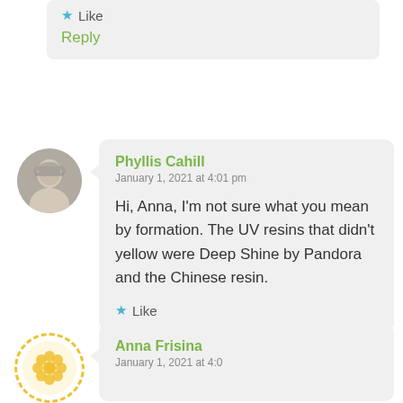Like
Reply
Phyllis Cahill
January 1, 2021 at 4:01 pm
Hi, Anna, I’m not sure what you mean by formation. The UV resins that didn’t yellow were Deep Shine by Pandora and the Chinese resin.
Like
Anna Frisina